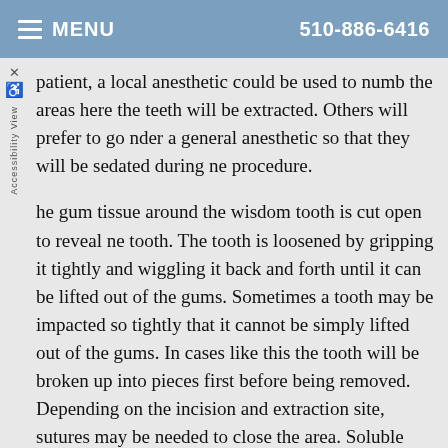MENU   510-886-6416
patient, a local anesthetic could be used to numb the areas where the teeth will be extracted. Others will prefer to go under a general anesthetic so that they will be sedated during the procedure.
The gum tissue around the wisdom tooth is cut open to reveal the tooth. The tooth is loosened by gripping it tightly and wiggling it back and forth until it can be lifted out of the gums. Sometimes a tooth may be impacted so tightly that it cannot be simply lifted out of the gums. In cases like this the tooth will be broken up into pieces first before being removed. Depending on the incision and extraction site, sutures may be needed to close the area. Soluble sutures are the best option, which will dissolve on their own.
After the surgery you will need to rest. You need to be driven